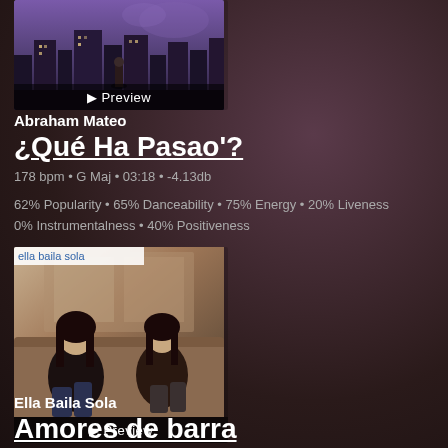[Figure (photo): Album art for Abraham Mateo showing a city skyline at dusk with a person, with a Preview button overlay at the bottom]
Abraham Mateo
¿Qué Ha Pasao'?
178 bpm • G Maj • 03:18 • -4.13db
62% Popularity • 65% Danceability • 75% Energy • 20% Liveness
0% Instrumentalness • 40% Positiveness
[Figure (photo): Album art for Ella Baila Sola showing two women on a couch, with preview button overlay]
Ella Baila Sola
Amores de barra